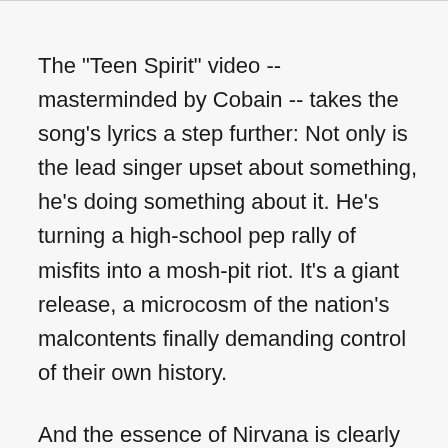The "Teen Spirit" video -- masterminded by Cobain -- takes the song's lyrics a step further: Not only is the lead singer upset about something, he's doing something about it. He's turning a high-school pep rally of misfits into a mosh-pit riot. It's a giant release, a microcosm of the nation's malcontents finally demanding control of their own history.
And the essence of Nirvana is clearly portrayed. Grohl is a monster on the drums, hair and arms flying like a cartoon caricature. Novoselic was drunk and high during the filming, according to biographer Michael Azerrad, and his stringy dark hair disguises his baby-